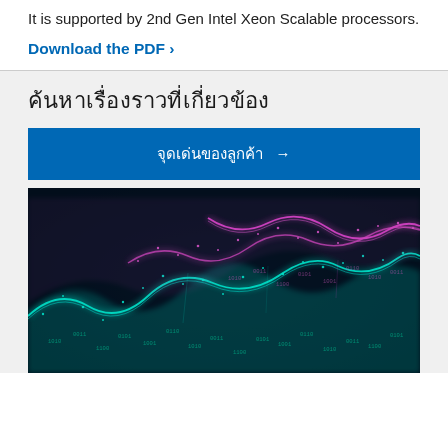It is supported by 2nd Gen Intel Xeon Scalable processors.
Download the PDF ›
ค้นหาเรื่องราวที่เกี่ยวข้อง
จุดเด่นของลูกค้า →
[Figure (photo): Abstract digital wave visualization with cyan and magenta/pink glowing particle streams forming wave patterns on a dark background, with binary code numbers visible.]